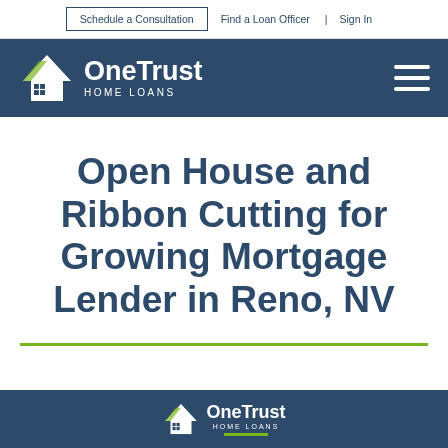Schedule a Consultation   Find a Loan Officer   Sign In
[Figure (logo): OneTrust Home Loans logo with house/roof icon in white on dark navy background, hamburger menu icon on right]
Open House and Ribbon Cutting for Growing Mortgage Lender in Reno, NV
[Figure (logo): OneTrust Home Loans logo with house/roof icon in white on dark navy background, bottom banner]